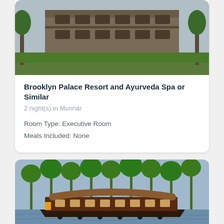[Figure (photo): Photo of Brooklyn Palace Resort - a large colonial-style building with multiple floors, balconies, and surrounded by trees]
Brooklyn Palace Resort and Ayurveda Spa or Similar
2 night(s) in Munnar
Room Type: Executive Room
Meals Included: None
[Figure (photo): Photo of a traditional Kerala houseboat on a backwater lake surrounded by palm trees]